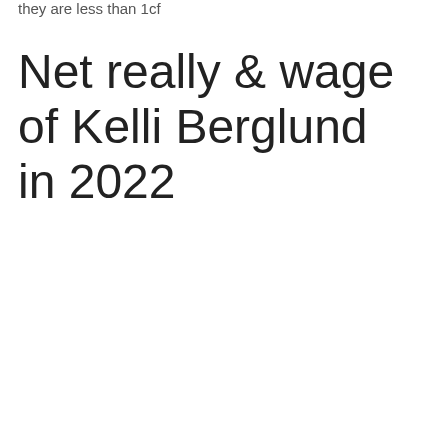they are less than 1cf
Net really & wage of Kelli Berglund in 2022